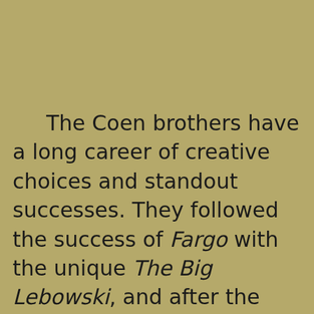The Coen brothers have a long career of creative choices and standout successes. They followed the success of Fargo with the unique The Big Lebowski, and after the success of O Brother, Where Art Thou? they made the studio films Intolerable Cruelty and the remake of The Ladykillers. After No Country for Old Men, the Coen brothers have made a comedy that aligns with